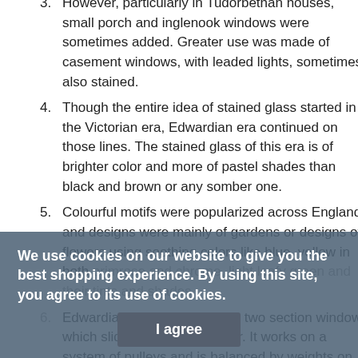3. However, particularly in Tudorbethan houses, small porch and inglenook windows were sometimes added. Greater use was made of casement windows, with leaded lights, sometimes also stained.
4. Though the entire idea of stained glass started in the Victorian era, Edwardian era continued on those lines. The stained glass of this era is of brighter color and more of pastel shades than black and brown or any somber one.
5. Colourful motifs were popularized across England and designs were mainly of gardens or designs of flowers using soothing colors like blue, yellow in both primrose and chrome, light leafy green and their tints and shades.
6. Edwardian Sash windows are two section windows which slide one over the other. It works on a system of pulleys and is balanced by weights on either side. These usually have distinctive styles and are more distinctive from other designs. These have an upper
We use cookies on our website to give you the best shopping experience. By using this site, you agree to its use of cookies.